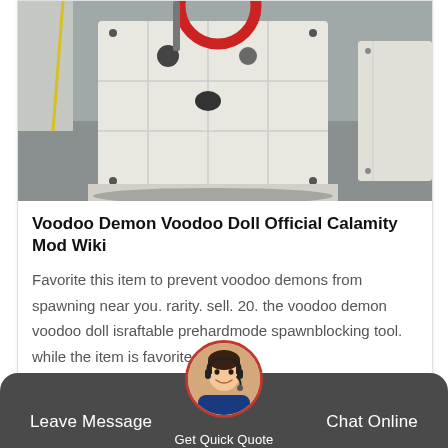[Figure (photo): Industrial jaw crusher machine in white color photographed in a factory/warehouse setting from above, with a red circular component visible at top.]
Voodoo Demon Voodoo Doll Official Calamity Mod Wiki
Favorite this item to prevent voodoo demons from spawning near you. rarity. sell. 20. the voodoo demon voodoo doll israftable prehardmode spawnblocking tool. while the item is favorited in th…
[Figure (other): Navigation arrow button (dark blue square with right arrow) and scroll-to-top button (red circle with up arrow)]
Leave Message   Get Quick Quote   Chat Online